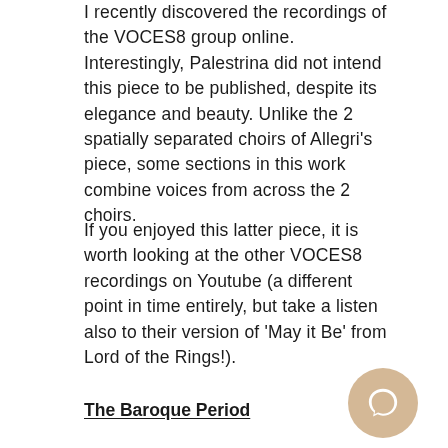I recently discovered the recordings of the VOCES8 group online. Interestingly, Palestrina did not intend this piece to be published, despite its elegance and beauty. Unlike the 2 spatially separated choirs of Allegri's piece, some sections in this work combine voices from across the 2 choirs.
If you enjoyed this latter piece, it is worth looking at the other VOCES8 recordings on Youtube (a different point in time entirely, but take a listen also to their version of 'May it Be' from Lord of the Rings!).
The Baroque Period